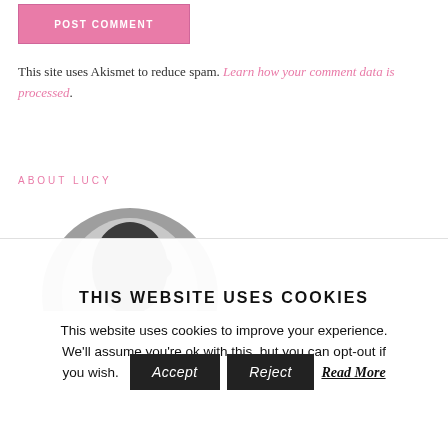[Figure (illustration): Pink POST COMMENT button with white text on pink background]
This site uses Akismet to reduce spam. Learn how your comment data is processed.
ABOUT LUCY
[Figure (illustration): Circular profile avatar showing a silhouette of a person's head in dark grey on a grey circular background]
THIS WEBSITE USES COOKIES
This website uses cookies to improve your experience. We'll assume you're ok with this, but you can opt-out if you wish.
Accept   Reject   Read More